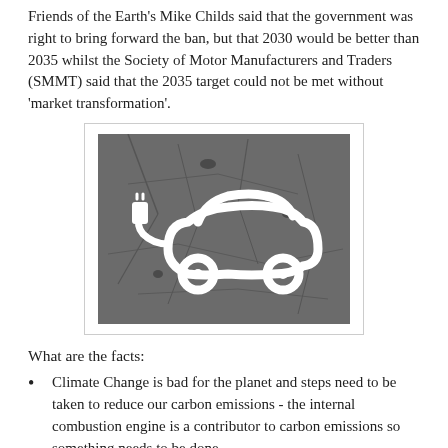Friends of the Earth's Mike Childs said that the government was right to bring forward the ban, but that 2030 would be better than 2035 whilst the Society of Motor Manufacturers and Traders (SMMT) said that the 2035 target could not be met without 'market transformation'.
[Figure (photo): A photograph of a cracked asphalt road surface painted with a white electric vehicle charging symbol — a car outline with a power plug attached.]
What are the facts:
Climate Change is bad for the planet and steps need to be taken to reduce our carbon emissions - the internal combustion engine is a contributor to carbon emissions so something needs to be done.
Norway have already legislated to stop the sale of brand new internal combustion engined vehicles in their country